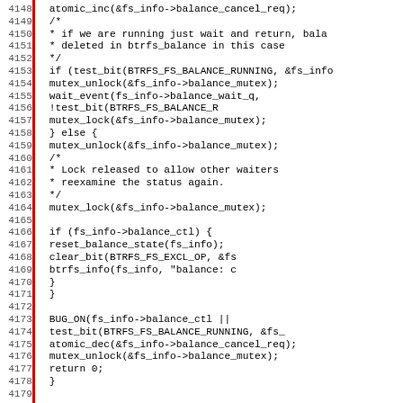[Figure (screenshot): Source code snippet in C showing lines 4148-4179 of a btrfs balance cancel function, with line numbers on the left and a red vertical bar separator.]